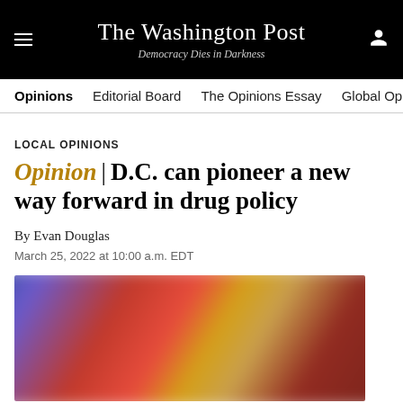The Washington Post — Democracy Dies in Darkness
Opinions | Editorial Board | The Opinions Essay | Global Op
LOCAL OPINIONS
Opinion | D.C. can pioneer a new way forward in drug policy
By Evan Douglas
March 25, 2022 at 10:00 a.m. EDT
[Figure (photo): Blurred photograph, appears to show colorful objects, heavily blurred and obscured.]